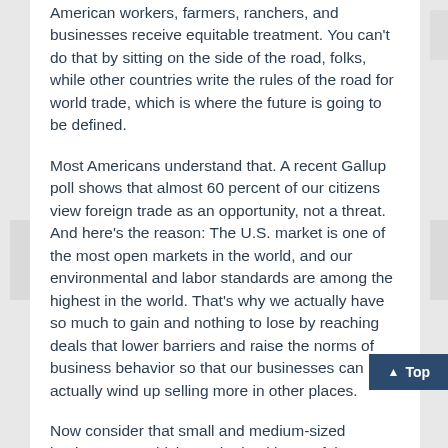American workers, farmers, ranchers, and businesses receive equitable treatment. You can't do that by sitting on the side of the road, folks, while other countries write the rules of the road for world trade, which is where the future is going to be defined.
Most Americans understand that. A recent Gallup poll shows that almost 60 percent of our citizens view foreign trade as an opportunity, not a threat. And here's the reason: The U.S. market is one of the most open markets in the world, and our environmental and labor standards are among the highest in the world. That's why we actually have so much to gain and nothing to lose by reaching deals that lower barriers and raise the norms of business behavior so that our businesses can actually wind up selling more in other places.
Now consider that small and medium-sized businesses – which are the backbone of the American economy, by the way – they face a unique set of challenges when they're trying to increase exports. For example, Health Enterprises in North Attleboro, Massachusetts ships consumer health care items